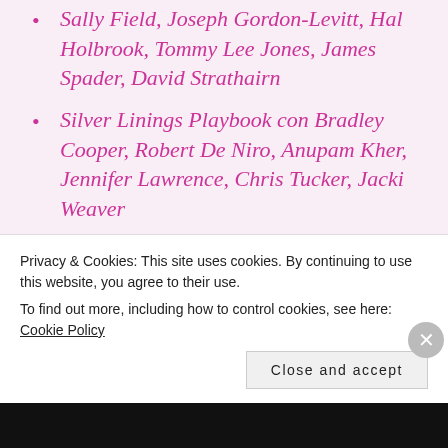Sally Field, Joseph Gordon-Levitt, Hal Holbrook, Tommy Lee Jones, James Spader, David Strathairn
Silver Linings Playbook con Bradley Cooper, Robert De Niro, Anupam Kher, Jennifer Lawrence, Chris Tucker, Jacki Weaver
Outstanding Performance by a Stunt Ensemble in a Motion
Privacy & Cookies: This site uses cookies. By continuing to use this website, you agree to their use.
To find out more, including how to control cookies, see here: Cookie Policy